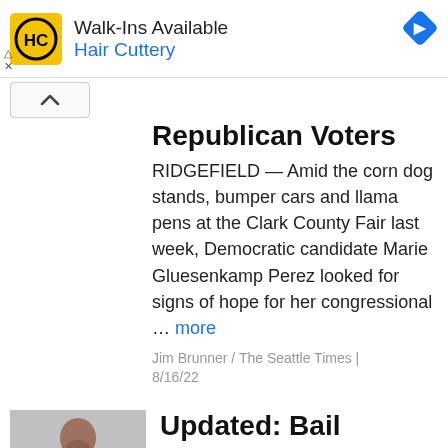[Figure (advertisement): Hair Cuttery advertisement banner with yellow HC logo, text 'Walk-Ins Available' and 'Hair Cuttery', blue navigation diamond icon, ad controls (triangle up arrow and X)]
Republican Voters
RIDGEFIELD — Amid the corn dog stands, bumper cars and llama pens at the Clark County Fair last week, Democratic candidate Marie Gluesenkamp Perez looked for signs of hope for her congressional … more
Jim Brunner / The Seattle Times | 8/16/22
[Figure (photo): Photo of a young man in a red shirt seated in a gray chair, appearing to be in a jail or court setting]
Updated: Bail D...